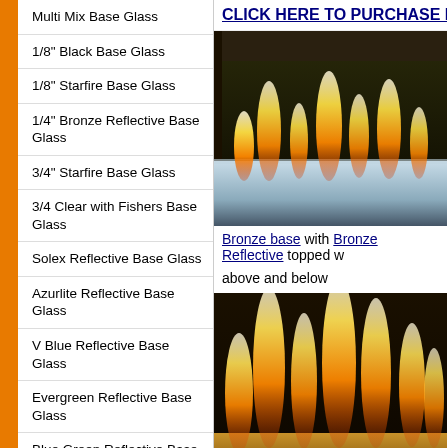Multi Mix Base Glass
1/8" Black Base Glass
1/8" Starfire Base Glass
1/4" Bronze Reflective Base Glass
3/4" Starfire Base Glass
3/4 Clear with Fishers Base Glass
Solex Reflective Base Glass
Azurlite Reflective Base Glass
V Blue Reflective Base Glass
Evergreen Reflective Base Glass
Blue Green Reflective Base Glass
CLICK HERE TO PURCHASE IN TH...
[Figure (photo): Fireplace with clear/starfire base glass and flames visible above the glass bed]
Bronze base with Bronze Reflective topped w... above and below
[Figure (photo): Fireplace with bronze reflective base glass and large flames visible above the glass bed]